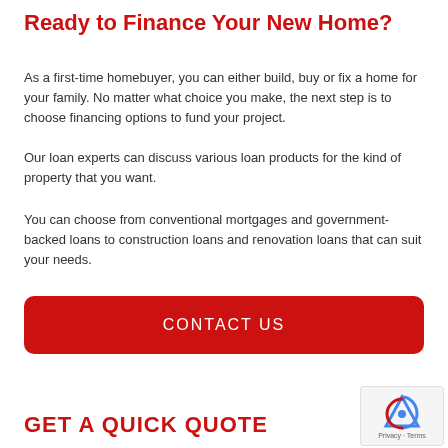Ready to Finance Your New Home?
As a first-time homebuyer, you can either build, buy or fix a home for your family. No matter what choice you make, the next step is to choose financing options to fund your project.
Our loan experts can discuss various loan products for the kind of property that you want.
You can choose from conventional mortgages and government-backed loans to construction loans and renovation loans that can suit your needs.
CONTACT US
GET A QUICK QUOTE